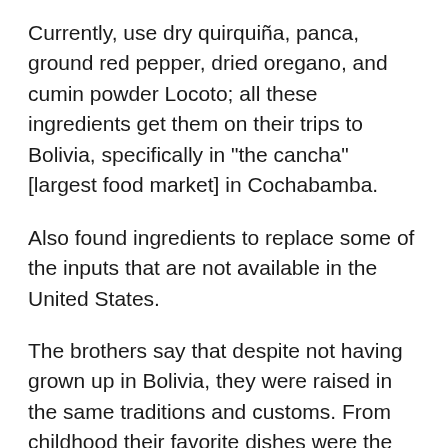Currently, use dry quirquiña, panca, ground red pepper, dried oregano, and cumin powder Locoto; all these ingredients get them on their trips to Bolivia, specifically in “the cancha” [largest food market] in Cochabamba.
Also found ingredients to replace some of the inputs that are not available in the United States.
The brothers say that despite not having grown up in Bolivia, they were raised in the same traditions and customs. From childhood their favorite dishes were the donuts, api, silpancho, chili chicken, pork, humintas, etcetera. Here, more modern techniques, inspired their menu.
“Being a Bolivian in New York and have a business of